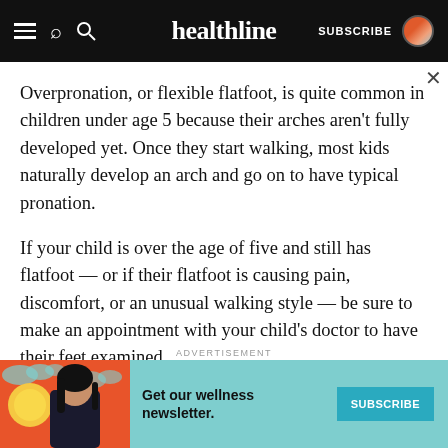healthline | SUBSCRIBE
Overpronation, or flexible flatfoot, is quite common in children under age 5 because their arches aren't fully developed yet. Once they start walking, most kids naturally develop an arch and go on to have typical pronation.
If your child is over the age of five and still has flatfoot — or if their flatfoot is causing pain, discomfort, or an unusual walking style — be sure to make an appointment with your child's doctor to have their feet examined.
Conservative treatments such as ice, stretching, or
[Figure (illustration): Advertisement banner with teal background, illustration of woman with black hair on orange/red background on left, text 'Get our wellness newsletter.' in center-left, and a teal SUBSCRIBE button on the right.]